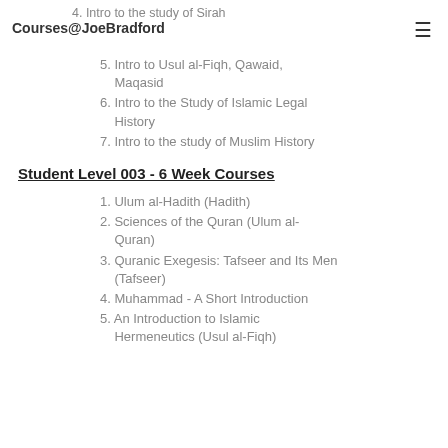Courses@JoeBradford
4. Intro to the study of Sirah
5. Intro to Usul al-Fiqh, Qawaid, Maqasid
6. Intro to the Study of Islamic Legal History
7. Intro to the study of Muslim History
Student Level 003 - 6 Week Courses
1. Ulum al-Hadith (Hadith)
2. Sciences of the Quran (Ulum al-Quran)
3. Quranic Exegesis: Tafseer and Its Men (Tafseer)
4. Muhammad - A Short Introduction
5. An Introduction to Islamic Hermeneutics (Usul al-Fiqh)